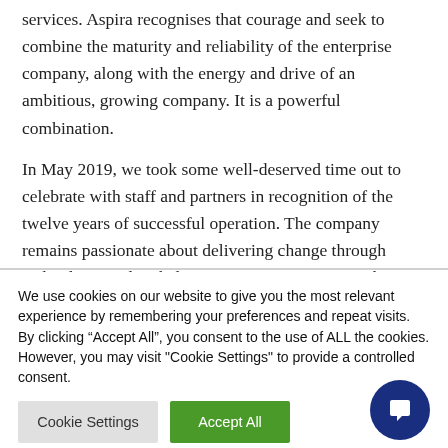services. Aspira recognises that courage and seek to combine the maturity and reliability of the enterprise company, along with the energy and drive of an ambitious, growing company. It is a powerful combination.
In May 2019, we took some well-deserved time out to celebrate with staff and partners in recognition of the twelve years of successful operation. The company remains passionate about delivering change through technology, and on helping customers to manage their projects better.
We use cookies on our website to give you the most relevant experience by remembering your preferences and repeat visits. By clicking “Accept All”, you consent to the use of ALL the cookies. However, you may visit "Cookie Settings" to provide a controlled consent.